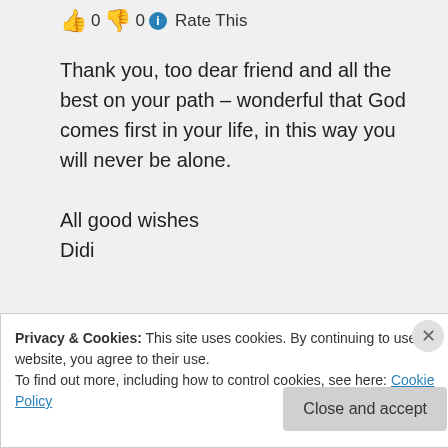👍 0 👎 0 ℹ Rate This
Thank you, too dear friend and all the best on your path – wonderful that God comes first in your life, in this way you will never be alone.

All good wishes
Didi
★ Liked by 4 people
Log in to Reply
Privacy & Cookies: This site uses cookies. By continuing to use this website, you agree to their use.
To find out more, including how to control cookies, see here: Cookie Policy
Close and accept